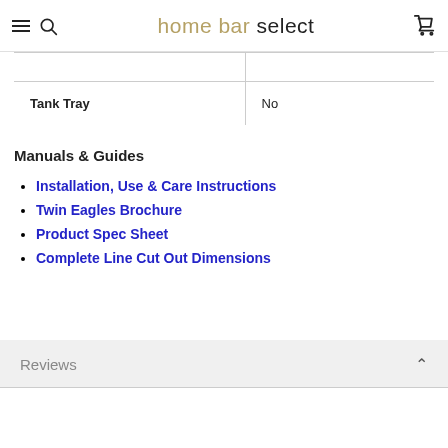home bar select
|  |  |
| Tank Tray | No |
Manuals & Guides
Installation, Use & Care Instructions
Twin Eagles Brochure
Product Spec Sheet
Complete Line Cut Out Dimensions
Reviews